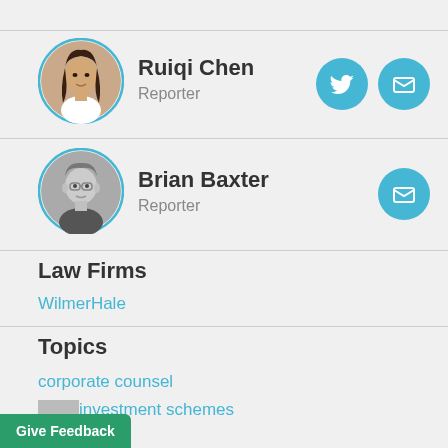[Figure (photo): Circular avatar photo of Ruiqi Chen, a woman with dark hair]
Ruiqi Chen
Reporter
[Figure (illustration): Twitter icon button (blue circle with bird)]
[Figure (illustration): Email icon button (blue circle with envelope)]
[Figure (photo): Circular avatar photo of Brian Baxter, a man in black and white photo]
Brian Baxter
Reporter
[Figure (illustration): Email icon button (blue circle with envelope)]
Law Firms
WilmerHale
Topics
corporate counsel
investment schemes
isements